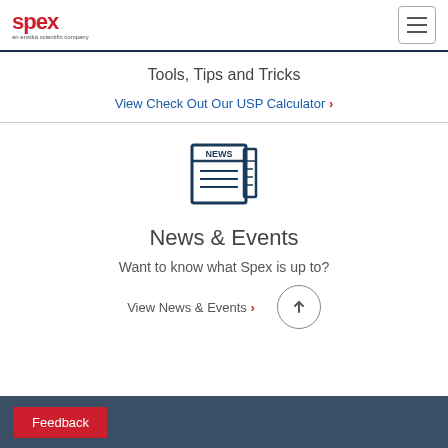spex an enstka scientific company [hamburger menu]
Tools, Tips and Tricks
View Check Out Our USP Calculator ›
[Figure (illustration): Newspaper icon with 'NEWS' text in dark navy blue]
News & Events
Want to know what Spex is up to?
View News & Events ›
Feedback